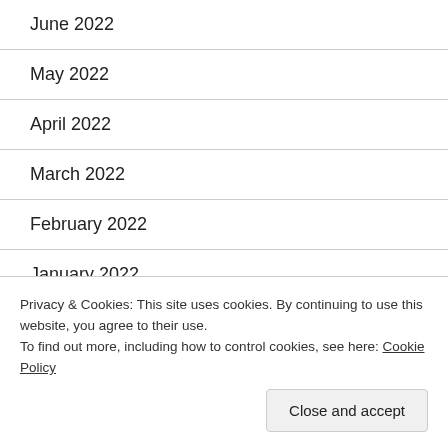June 2022
May 2022
April 2022
March 2022
February 2022
January 2022
December 2021
November 2021
Privacy & Cookies: This site uses cookies. By continuing to use this website, you agree to their use.
To find out more, including how to control cookies, see here: Cookie Policy
Close and accept